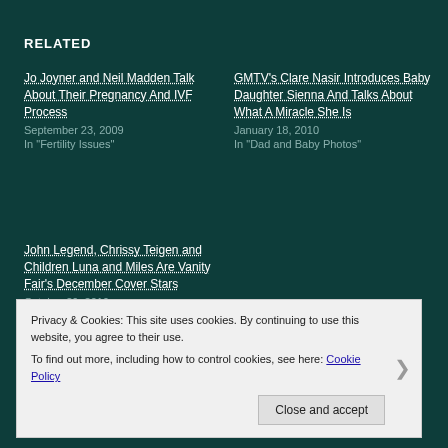RELATED
Jo Joyner and Neil Madden Talk About Their Pregnancy And IVF Process
September 23, 2009
In "Fertility Issues"
GMTV's Clare Nasir Introduces Baby Daughter Sienna And Talks About What A Miracle She Is
January 18, 2010
In "Dad and Baby Photos"
John Legend, Chrissy Teigen and Children Luna and Miles Are Vanity Fair's December Cover Stars
October 29, 2019
Privacy & Cookies: This site uses cookies. By continuing to use this website, you agree to their use.
To find out more, including how to control cookies, see here: Cookie Policy